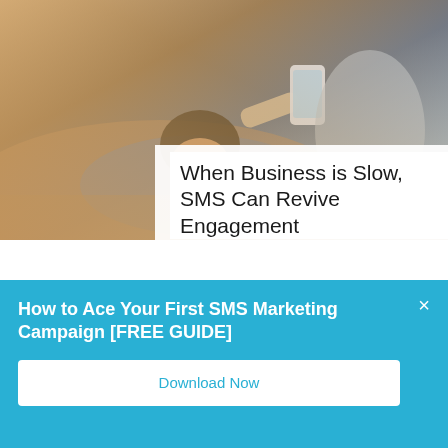[Figure (photo): Person lying down outdoors using a smartphone, another person visible in background, warm sunlit tones]
When Business is Slow, SMS Can Revive Engagement
Jan 17, 2022    SMS Marketing
How to Ace Your First SMS Marketing Campaign [FREE GUIDE]
Download Now